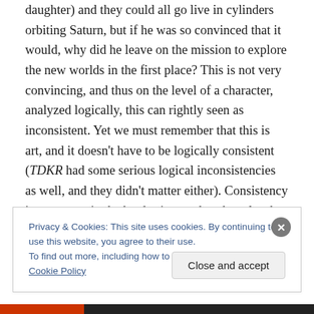daughter) and they could all go live in cylinders orbiting Saturn, but if he was so convinced that it would, why did he leave on the mission to explore the new worlds in the first place? This is not very convincing, and thus on the level of a character, analyzed logically, this can rightly seen as inconsistent. Yet we must remember that this is art, and it doesn't have to be logically consistent (TDKR had some serious logical inconsistencies as well, and they didn't matter either). Consistency is necessary in the hard sciences, but the rules that work in the hard sciences don't work well in other spheres of human endeavor. In areas
Privacy & Cookies: This site uses cookies. By continuing to use this website, you agree to their use.
To find out more, including how to control cookies, see here: Cookie Policy
Close and accept